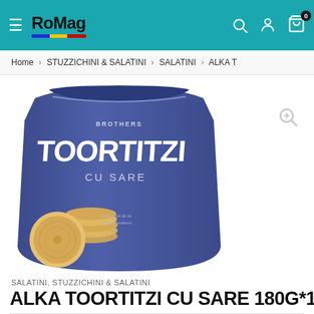RoMag
Home > STUZZICHINI & SALATINI > SALATINI > ALKA T
[Figure (photo): Product photo: a blue standup pouch bag of Alka Toortitzi Cu Sare crackers (Brothers brand), with round salted snack crackers displayed in front of the bag.]
SALATINI, STUZZICHINI & SALATINI
ALKA TOORTITZI CU SARE 180G*12